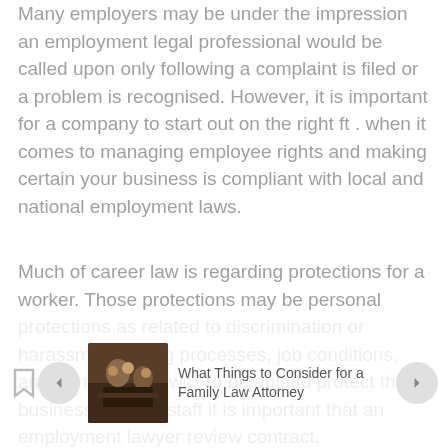Many employers may be under the impression an employment legal professional would be called upon only following a complaint is filed or a problem is recognised. However, it is important for a company to start out on the right ft . when it comes to managing employee rights and making certain your business is compliant with local and national employment laws.
Much of career law is regarding protections for a worker. Those protections may be personal protections as related to discrimination or harassment, hiring processes, job conditions, and termination laws. To be able to protect the business and the staff it is important that an employment lawyer review contract, agreements, job offers, and other employee/employer paperwork to ensure that
[Figure (photo): Thumbnail image showing people at a table, possibly in a legal or family setting, dark warm tones.]
What Things to Consider for a Family Law Attorney